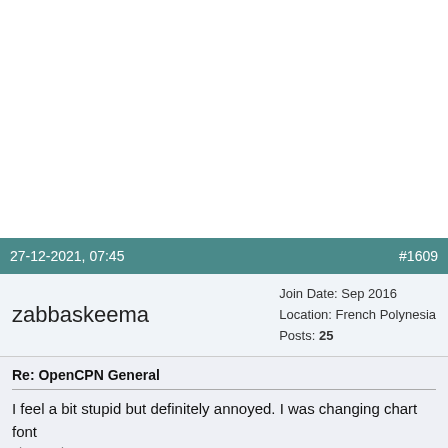[Figure (other): White blank area at top of page, approximately half the page]
27-12-2021, 07:45    #1609
zabbaskeema
Join Date: Sep 2016
Location: French Polynesia
Posts: 25
Re: OpenCPN General
I feel a bit stupid but definitely annoyed. I was changing chart font size and ... See attached
[Figure (screenshot): BitLife advertisement banner: 'NOW WITH GOD MODE' with cartoon hand gesture and close button]